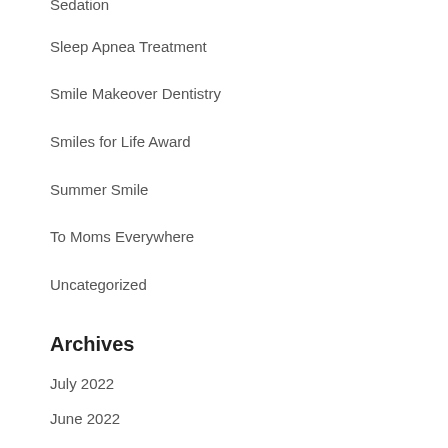Sedation
Sleep Apnea Treatment
Smile Makeover Dentistry
Smiles for Life Award
Summer Smile
To Moms Everywhere
Uncategorized
Archives
July 2022
June 2022
April 2022
January 2022
December 2021
November 2021
October 2021